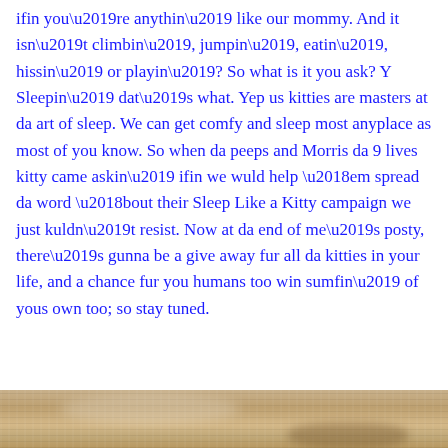ifin you’re anythin’ like our mommy. And it isn’t climbin’, jumpin’, eatin’, hissin’ or playin’? So what is it you ask? Y Sleepin’ dat’s what. Yep us kitties are masters at da art of sleep. We can get comfy and sleep most anyplace as most of you know. So when da peeps and Morris da 9 lives kitty came askin’ ifin we wuld help ‘em spread da word ‘bout their Sleep Like a Kitty campaign we just kuldn’t resist. Now at da end of me’s posty, there’s gunna be a give away fur all da kitties in your life, and a chance fur you humans too win sumfin’ of yous own too; so stay tuned.
[Figure (photo): Bottom strip of a photo showing what appears to be a cat resting on a textured surface, cropped at the bottom of the page]